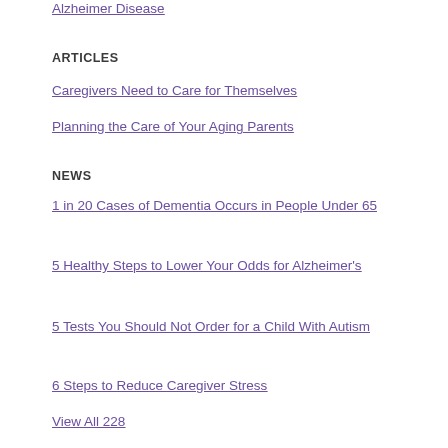Alzheimer Disease
ARTICLES
Caregivers Need to Care for Themselves
Planning the Care of Your Aging Parents
NEWS
1 in 20 Cases of Dementia Occurs in People Under 65
5 Healthy Steps to Lower Your Odds for Alzheimer's
5 Tests You Should Not Order for a Child With Autism
6 Steps to Reduce Caregiver Stress
View All 228